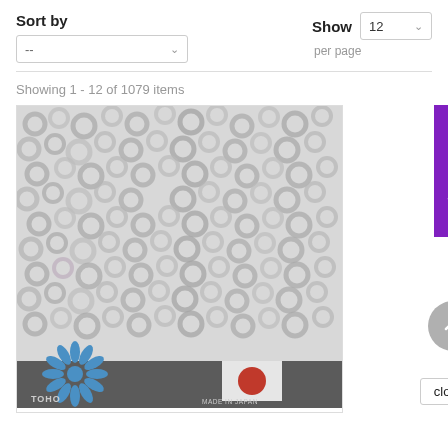Sort by
Show 12 per page
Showing 1 - 12 of 1079 items
[Figure (photo): Close-up macro photo of transparent/crystal glass seed beads piled together, with a Toho brand logo and 'Made in Japan' text visible at the bottom]
FILTRAS
close